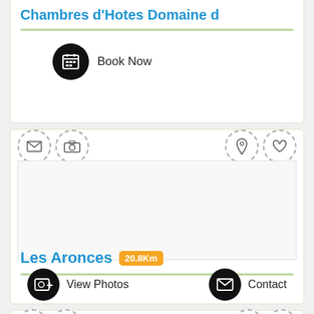Chambres d'Hotes Domaine d
[Figure (infographic): Book Now button with calendar icon]
[Figure (infographic): Listing card for Les Aronces with icons (envelope, camera, pin, heart), empty photo area, distance badge 20.8Km, View Photos and Contact buttons]
Les Aronces 20.8Km
[Figure (infographic): Partial bottom card with envelope, camera, pin, and heart icons]